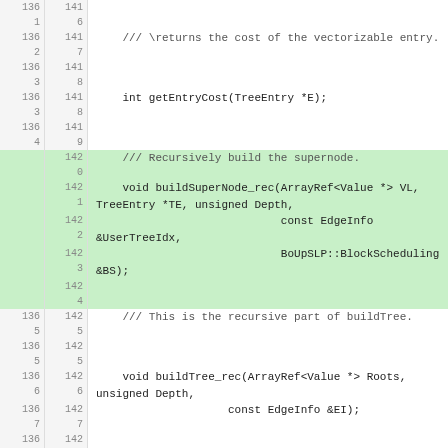[Figure (screenshot): Source code diff view showing C++ code with line numbers on left (old) and right (new), with green highlighted lines indicating added code. Contains function declarations for getEntryCost, buildSuperNode_rec, buildTree_rec, and a partial eturns comment.]